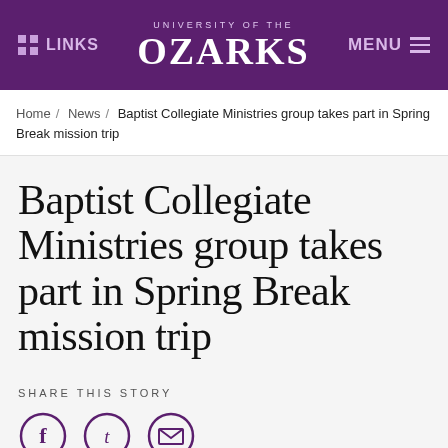LINKS | UNIVERSITY OF THE OZARKS | MENU
Home / News / Baptist Collegiate Ministries group takes part in Spring Break mission trip
Baptist Collegiate Ministries group takes part in Spring Break mission trip
SHARE THIS STORY
[Figure (other): Social media share icons: Facebook, Twitter, Email — circular purple outlined buttons]